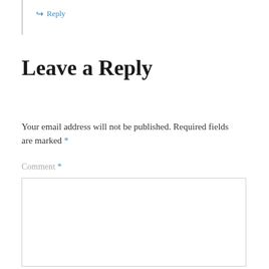↳ Reply
Leave a Reply
Your email address will not be published. Required fields are marked *
Comment *
[Figure (other): Empty comment text area input box]